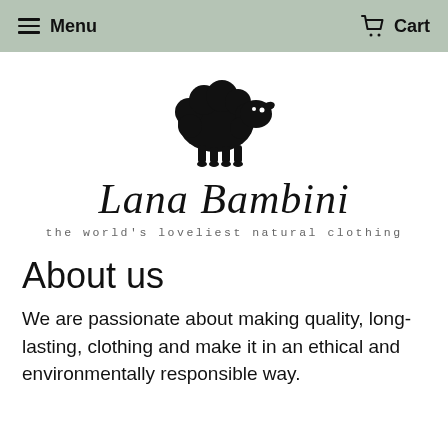Menu   Cart
[Figure (logo): Black silhouette of a fluffy sheep with white dot eyes, facing right — logo for Lana Bambini. Below the sheep is the cursive brand name 'Lana Bambini' and the tagline 'the world's loveliest natural clothing' in monospaced lettering.]
About us
We are passionate about making quality, long-lasting, clothing and make it in an ethical and environmentally responsible way.